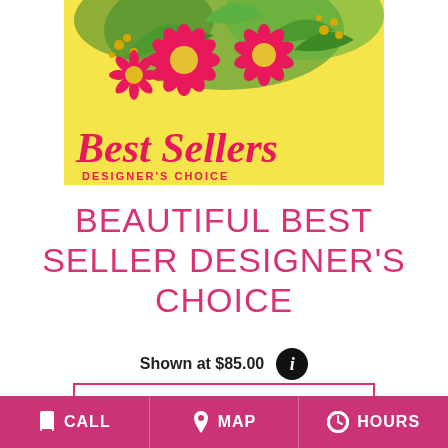[Figure (photo): Flower arrangement photo showing pink daisy-like flowers, yellow accent flowers, and green foliage on a yellow background, with 'Best Sellers Designer's Choice' text overlay in pink cursive and block letters]
BEAUTIFUL BEST SELLER DESIGNER'S CHOICE
Shown at $85.00
BUY NOW
CALL   MAP   HOURS